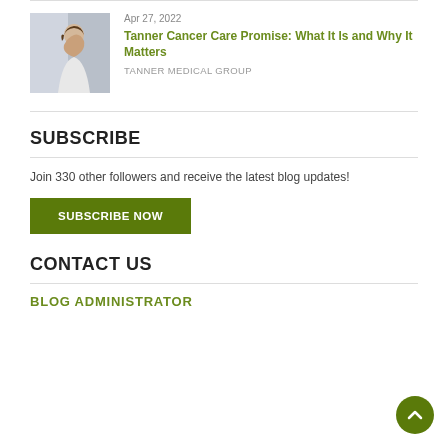[Figure (photo): Photo of a woman in white robe looking thoughtfully to the side, associated with a cancer care blog post.]
Apr 27, 2022
Tanner Cancer Care Promise: What It Is and Why It Matters
TANNER MEDICAL GROUP
SUBSCRIBE
Join 330 other followers and receive the latest blog updates!
SUBSCRIBE NOW
CONTACT US
BLOG ADMINISTRATOR